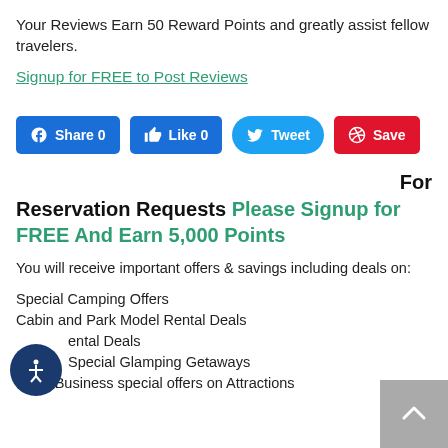Your Reviews Earn 50 Reward Points and greatly assist fellow travelers.
Signup for FREE to Post Reviews
[Figure (other): Social sharing buttons: Facebook Share 0, Like 0, Twitter Tweet, Pinterest Save]
For Reservation Requests Please Signup for FREE And Earn 5,000 Points
You will receive important offers & savings including deals on:
Special Camping Offers
Cabin and Park Model Rental Deals
ental Deals
Special Glamping Getaways
Local Business special offers on Attractions